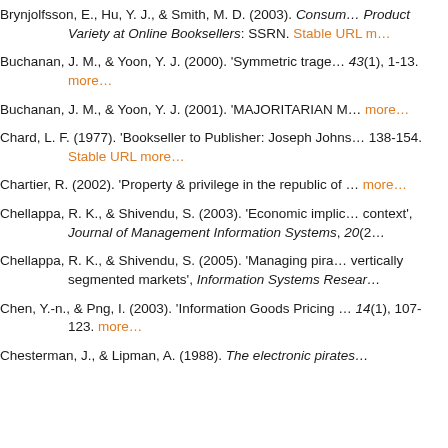Brynjolfsson, E., Hu, Y. J., & Smith, M. D. (2003). Consumers and Product Variety at Online Booksellers: SSRN. Stable URL m…
Buchanan, J. M., & Yoon, Y. J. (2000). 'Symmetric tragedy…', 43(1), 1-13. more…
Buchanan, J. M., & Yoon, Y. J. (2001). 'MAJORITARIAN M… more…
Chard, L. F. (1977). 'Bookseller to Publisher: Joseph Johns… 138-154. Stable URL more…
Chartier, R. (2002). 'Property & privilege in the republic of … more…
Chellappa, R. K., & Shivendu, S. (2003). 'Economic implic… context', Journal of Management Information Systems, 20(2…
Chellappa, R. K., & Shivendu, S. (2005). 'Managing pira… vertically segmented markets', Information Systems Resear…
Chen, Y.-n., & Png, I. (2003). 'Information Goods Pricing … 14(1), 107-123. more…
Chesterman, J., & Lipman, A. (1988). The electronic pirates…